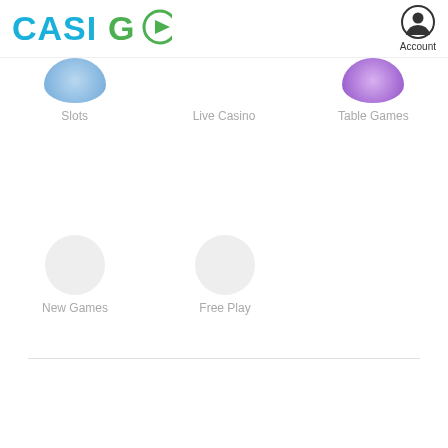[Figure (logo): CasiGo logo with teal/blue text and green play button icon]
[Figure (illustration): Account icon (person silhouette in circle) with Account label]
[Figure (illustration): Partially visible circular image for Slots category]
Slots
Live Casino
[Figure (illustration): Partially visible purple circular image for Table Games category]
Table Games
[Figure (illustration): Empty grey circle placeholder for New Games]
New Games
[Figure (illustration): Empty grey circle placeholder for Free Play]
Free Play